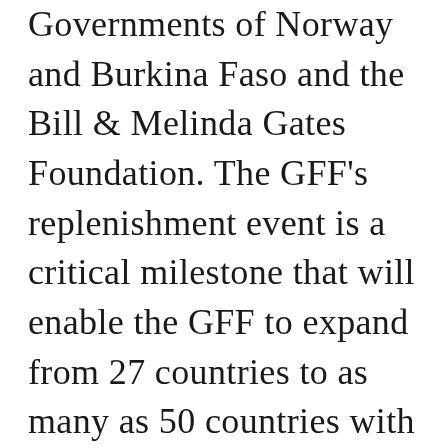Governments of Norway and Burkina Faso and the Bill & Melinda Gates Foundation. The GFF's replenishment event is a critical milestone that will enable the GFF to expand from 27 countries to as many as 50 countries with the greatest health and nutrition needs. This has the